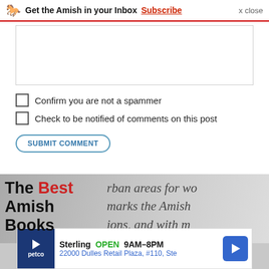Get the Amish in your Inbox Subscribe  x close
[Figure (screenshot): Comment text area input box]
Confirm you are not a spammer
Check to be notified of comments on this post
SUBMIT COMMENT
[Figure (infographic): Advertisement banner: 'The Best Amish Books' with book page background text reading 'urban areas for wo... marks the Amish... ions, and with m...' and Petco ad at bottom: Sterling OPEN 9AM-8PM, 22000 Dulles Retail Plaza, #110, Ste]